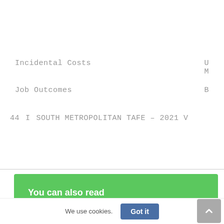Incidental Costs    U M
Job Outcomes    B
44    I    SOUTH METROPOLITAN TAFE – 2021 V
You can also read
We use cookies.